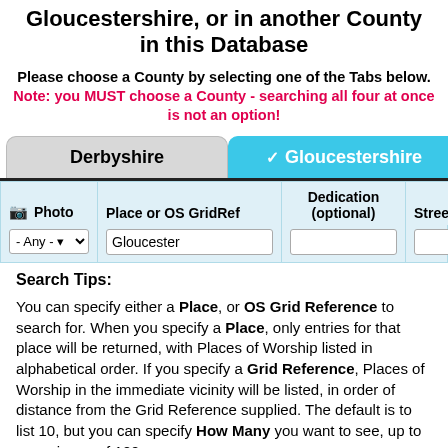Gloucestershire, or in another County in this Database
Please choose a County by selecting one of the Tabs below.
Note: you MUST choose a County - searching all four at once is not an option!
[Figure (screenshot): Tab navigation showing Derbyshire (grey unselected tab) and Gloucestershire (blue selected tab with checkmark)]
| Photo | Place or OS GridRef | Dedication (optional) | Stree... |
| --- | --- | --- | --- |
| - Any - | Gloucester |  |  |
Search Tips:
You can specify either a Place, or OS Grid Reference to search for. When you specify a Place, only entries for that place will be returned, with Places of Worship listed in alphabetical order. If you specify a Grid Reference, Places of Worship in the immediate vicinity will be listed, in order of distance from the Grid Reference supplied. The default is to list 10, but you can specify How Many you want to see, up to a maximum of 100.